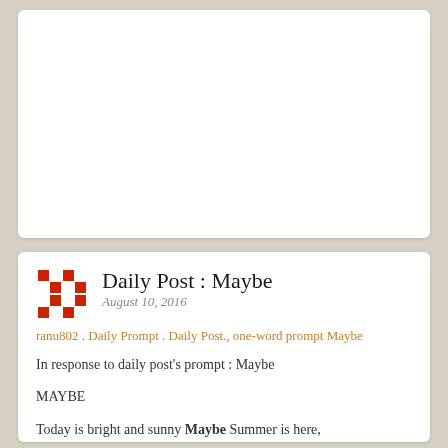[Figure (other): White card area (top) — blank white rectangle, likely an image placeholder or advertisement area]
Daily Post : Maybe
August 10, 2016
ranu802 . Daily Prompt . Daily Post., one-word prompt Maybe
In response to daily post's prompt : Maybe
MAYBE
Today is bright and sunny Maybe Summer is here,
I wish I could say yes it's Summer have no fear,